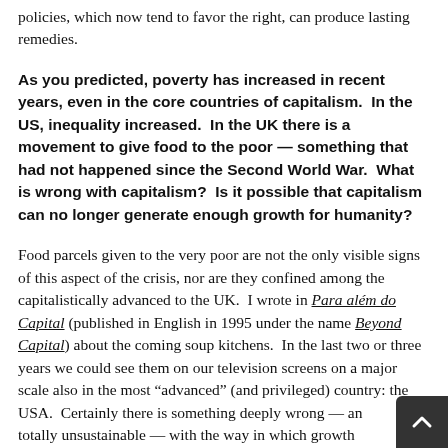policies, which now tend to favor the right, can produce lasting remedies.
As you predicted, poverty has increased in recent years, even in the core countries of capitalism.  In the US, inequality increased.  In the UK there is a movement to give food to the poor — something that had not happened since the Second World War.  What is wrong with capitalism?  Is it possible that capitalism can no longer generate enough growth for humanity?
Food parcels given to the very poor are not the only visible signs of this aspect of the crisis, nor are they confined among the capitalistically advanced to the UK.  I wrote in Para além do Capital (published in English in 1995 under the name Beyond Capital) about the coming soup kitchens.  In the last two or three years we could see them on our television screens on a major scale also in the most "advanced" (and privileged) country: the USA.  Certainly there is something deeply wrong — and totally unsustainable — with the way in which growth